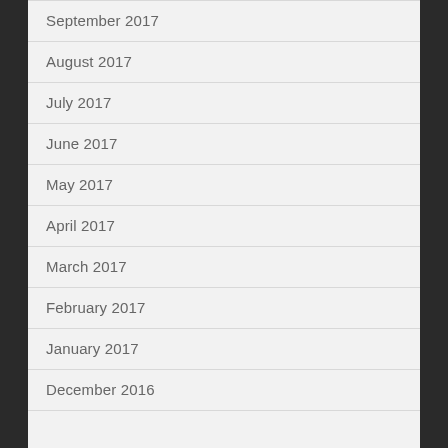September 2017
August 2017
July 2017
June 2017
May 2017
April 2017
March 2017
February 2017
January 2017
December 2016